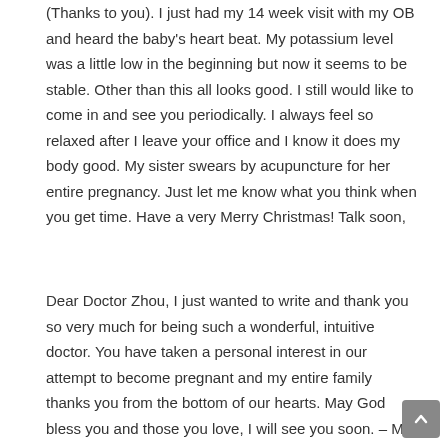(Thanks to you). I just had my 14 week visit with my OB and heard the baby's heart beat. My potassium level was a little low in the beginning but now it seems to be stable. Other than this all looks good. I still would like to come in and see you periodically. I always feel so relaxed after I leave your office and I know it does my body good. My sister swears by acupuncture for her entire pregnancy. Just let me know what you think when you get time. Have a very Merry Christmas! Talk soon,
Dear Doctor Zhou, I just wanted to write and thank you so very much for being such a wonderful, intuitive doctor. You have taken a personal interest in our attempt to become pregnant and my entire family thanks you from the bottom of our hearts. May God bless you and those you love, I will see you soon. – M. K